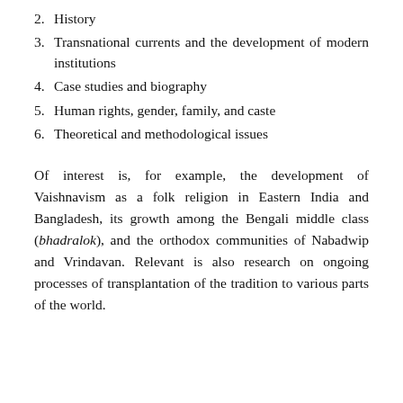2. History
3. Transnational currents and the development of modern institutions
4. Case studies and biography
5. Human rights, gender, family, and caste
6. Theoretical and methodological issues
Of interest is, for example, the development of Vaishnavism as a folk religion in Eastern India and Bangladesh, its growth among the Bengali middle class (bhadralok), and the orthodox communities of Nabadwip and Vrindavan. Relevant is also research on ongoing processes of transplantation of the tradition to various parts of the world.